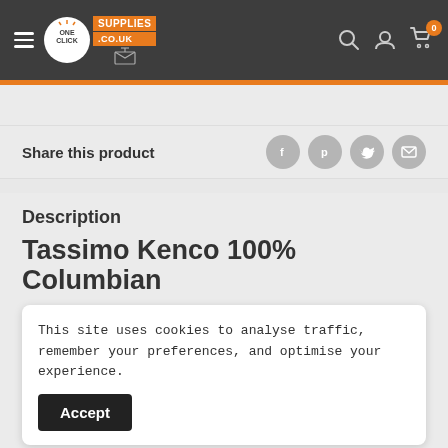OneClick Supplies .co.uk — navigation header
Share this product
Description
Tassimo Kenco 100% Columbian
This site uses cookies to analyse traffic, remember your preferences, and optimise your experience.
Accept